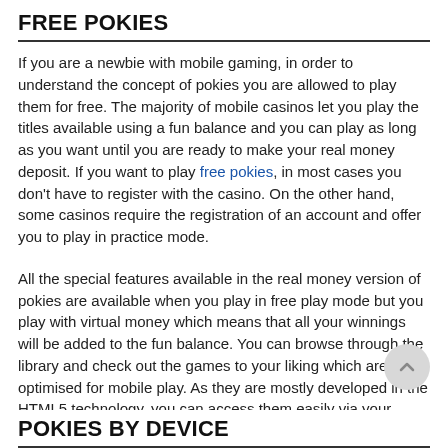FREE POKIES
If you are a newbie with mobile gaming, in order to understand the concept of pokies you are allowed to play them for free. The majority of mobile casinos let you play the titles available using a fun balance and you can play as long as you want until you are ready to make your real money deposit. If you want to play free pokies, in most cases you don't have to register with the casino. On the other hand, some casinos require the registration of an account and offer you to play in practice mode.
All the special features available in the real money version of pokies are available when you play in free play mode but you play with virtual money which means that all your winnings will be added to the fun balance. You can browse through the library and check out the games to your liking which are fully optimised for mobile play. As they are mostly developed in the HTML5 technology, you can access them easily via your mobile br
POKIES BY DEVICE